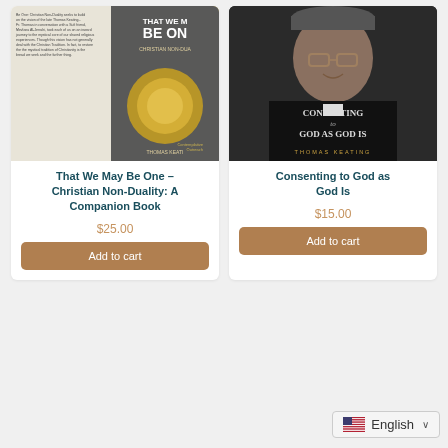[Figure (other): Book cover: 'That We May Be One – Christian Non-Duality: A Companion Book' by Thomas Keating]
That We May Be One – Christian Non-Duality: A Companion Book
$25.00
Add to cart
[Figure (photo): Book cover: 'Consenting to God as God Is' by Thomas Keating. Features photo of elderly man with glasses wearing dark clothing.]
Consenting to God as God Is
$15.00
Add to cart
English